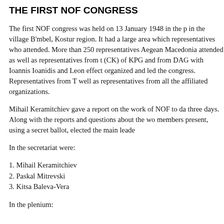THE FIRST NOF CONGRESS
The first NOF congress was held on 13 January 1948 in the p... in the village B'mbel, Kostur region. It had a large area which... representatives who attended. More than 250 representatives Aegean Macedonia attended as well as representatives from t (CK) of KPG and from DAG with Ioannis Ioanidis and Leon effect organized and led the congress. Representatives from T well as representatives from all the affiliated organizations.
Mihail Keramitchiev gave a report on the work of NOF to da three days. Along with the reports and questions about the wo members present, using a secret ballot, elected the main leade
In the secretariat were:
1. Mihail Keramitchiev
2. Paskal Mitrevski
3. Kitsa Baleva-Vera
In the plenium: